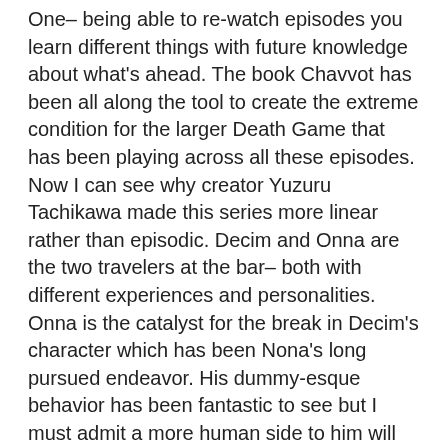One– being able to re-watch episodes you learn different things with future knowledge about what's ahead. The book Chavvot has been all along the tool to create the extreme condition for the larger Death Game that has been playing across all these episodes. Now I can see why creator Yuzuru Tachikawa made this series more linear rather than episodic. Decim and Onna are the two travelers at the bar– both with different experiences and personalities. Onna is the catalyst for the break in Decim's character which has been Nona's long pursued endeavor. His dummy-esque behavior has been fantastic to see but I must admit a more human side to him will be the straw that breaks the camels back for Oculus. Episode 7 focused on his hobby of building mannequins and I like how we see them presented greatly in this episode. Heck even since the first episode utilized this feature greatly by capturing these dummies in clothing!
These people have lost everything since they've died, they